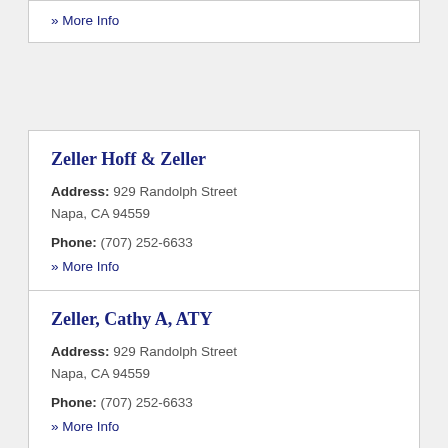» More Info
Zeller Hoff & Zeller
Address: 929 Randolph Street Napa, CA 94559
Phone: (707) 252-6633
» More Info
Zeller, Cathy A, ATY
Address: 929 Randolph Street Napa, CA 94559
Phone: (707) 252-6633
» More Info